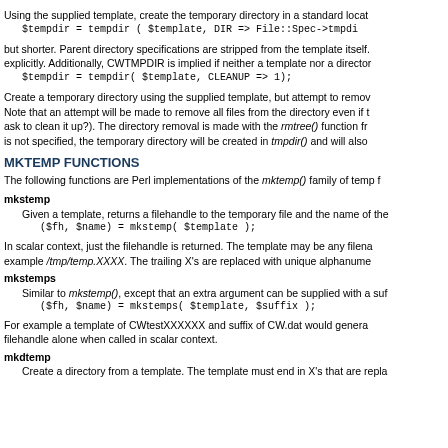Using the supplied template, create the temporary directory in a standard locat
$tempdir = tempdir ( $template, DIR => File::Spec->tmpdi
but shorter. Parent directory specifications are stripped from the template itself. explicitly. Additionally, CWTMPDIR is implied if neither a template nor a director
$tempdir = tempdir( $template, CLEANUP => 1);
Create a temporary directory using the supplied template, but attempt to remov Note that an attempt will be made to remove all files from the directory even if t ask to clean it up?). The directory removal is made with the rmtree() function fr is not specified, the temporary directory will be created in tmpdir() and will also
MKTEMP FUNCTIONS
The following functions are Perl implementations of the mktemp() family of temp f
mkstemp
Given a template, returns a filehandle to the temporary file and the name of the
($fh, $name) = mkstemp( $template );
In scalar context, just the filehandle is returned. The template may be any filena example /tmp/temp.XXXX. The trailing X's are replaced with unique alphanume
mkstemps
Similar to mkstemp(), except that an extra argument can be supplied with a suf
($fh, $name) = mkstemps( $template, $suffix );
For example a template of CWtestXXXXXX and suffix of CW.dat would genera filehandle alone when called in scalar context.
mkdtemp
Create a directory from a template. The template must end in X's that are repla